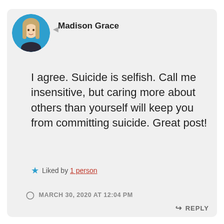[Figure (photo): Circular profile photo of a young woman with long blonde hair against a blue background]
Madison Grace
I agree. Suicide is selfish. Call me insensitive, but caring more about others than yourself will keep you from committing suicide. Great post!
Liked by 1 person
MARCH 30, 2020 AT 12:04 PM
REPLY